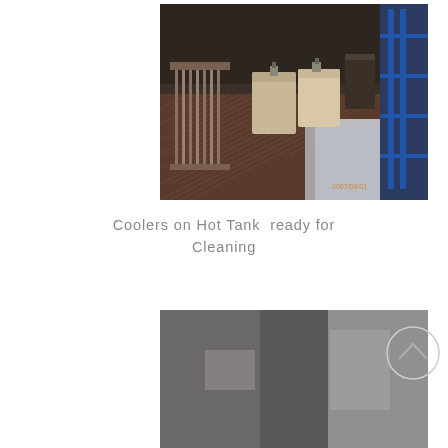[Figure (photo): Industrial coolers (heat exchangers) sitting on a metal grate hot tank surface, ready for cleaning. Background shows dark corrugated wall and blue metal shelving. Orange timestamp visible bottom right of photo.]
Coolers on Hot Tank  ready for Cleaning
[Figure (photo): Bottom partially visible photo showing industrial equipment on a concrete or metal surface, partially cropped.]